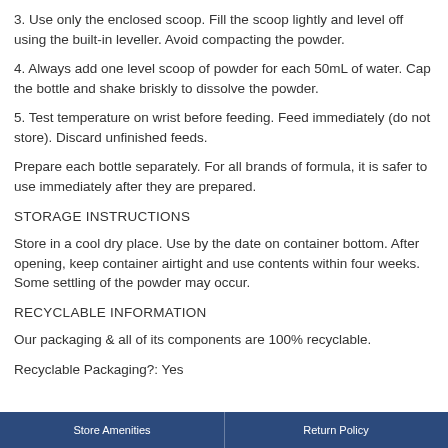3. Use only the enclosed scoop. Fill the scoop lightly and level off using the built-in leveller. Avoid compacting the powder.
4. Always add one level scoop of powder for each 50mL of water. Cap the bottle and shake briskly to dissolve the powder.
5. Test temperature on wrist before feeding. Feed immediately (do not store). Discard unfinished feeds.
Prepare each bottle separately. For all brands of formula, it is safer to use immediately after they are prepared.
STORAGE INSTRUCTIONS
Store in a cool dry place. Use by the date on container bottom. After opening, keep container airtight and use contents within four weeks. Some settling of the powder may occur.
RECYCLABLE INFORMATION
Our packaging & all of its components are 100% recyclable.
Recyclable Packaging?: Yes
Store Amenities    |    Return Policy